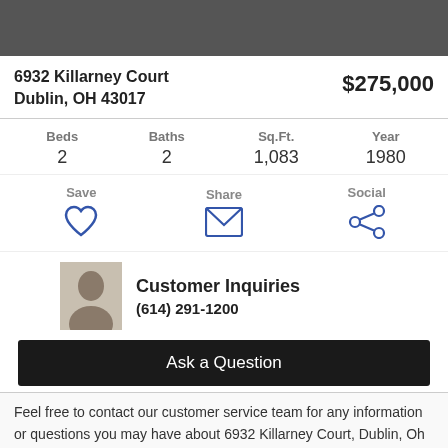6932 Killarney Court
Dublin, OH 43017
$275,000
| Beds | Baths | Sq.Ft. | Year |
| --- | --- | --- | --- |
| 2 | 2 | 1,083 | 1980 |
Save | Share | Social
[Figure (photo): Agent/representative headshot photo]
Customer Inquiries
(614) 291-1200
Ask a Question
Feel free to contact our customer service team for any information or questions you may have about 6932 Killarney Court, Dublin, Oh 43017 and it's 1083 with 2 and 2. or check